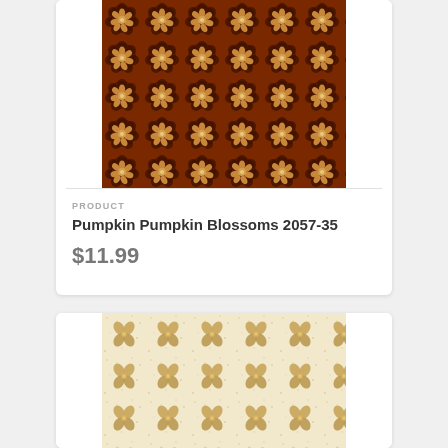[Figure (photo): Dark brown fabric/textile with repeating golden floral blossom pattern on rich rust/pumpkin colored background]
PRODUCT
Pumpkin Pumpkin Blossoms 2057-35
$11.99
[Figure (photo): Light cream/beige fabric/textile with repeating golden tan floral butterfly blossom pattern on textured off-white background]